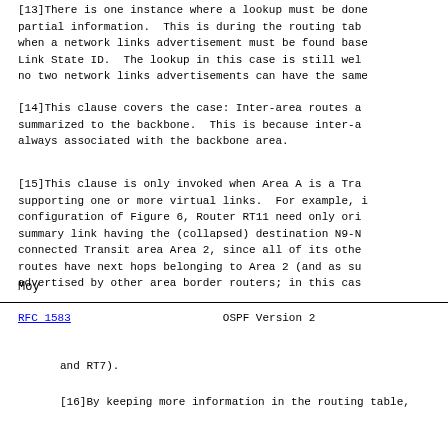[13]There is one instance where a lookup must be done on
partial information.  This is during the routing tab
when a network links advertisement must be found base
Link State ID.  The lookup in this case is still wel
no two network links advertisements can have the same
[14]This clause covers the case: Inter-area routes a
summarized to the backbone.  This is because inter-a
always associated with the backbone area.
[15]This clause is only invoked when Area A is a Tra
supporting one or more virtual links.  For example, i
configuration of Figure 6, Router RT11 need only ori
summary link having the (collapsed) destination N9-N
connected Transit area Area 2, since all of its othe
routes have next hops belonging to Area 2 (and as su
advertised by other area border routers; in this cas
Moy
RFC 1583                    OSPF Version 2
and RT7).
[16]By keeping more information in the routing table,